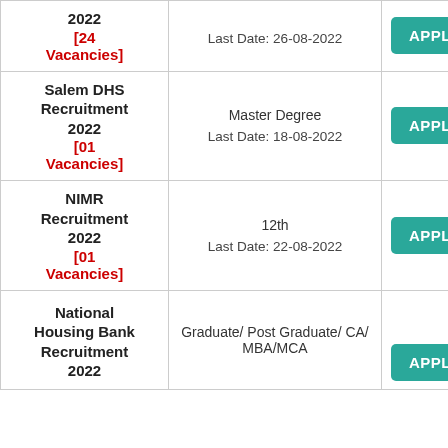| Recruitment | Qualification / Last Date | Apply |
| --- | --- | --- |
| [24 Vacancies] | Last Date: 26-08-2022 | APPLY |
| Salem DHS Recruitment 2022 [01 Vacancies] | Master Degree
Last Date: 18-08-2022 | APPLY |
| NIMR Recruitment 2022 [01 Vacancies] | 12th
Last Date: 22-08-2022 | APPLY |
| National Housing Bank Recruitment 2022 | Graduate/ Post Graduate/ CA/ MBA/MCA | APPLY |